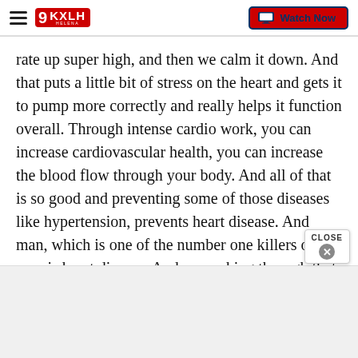9KXLH HELENA — Watch Now
rate up super high, and then we calm it down. And that puts a little bit of stress on the heart and gets it to pump more correctly and really helps it function overall. Through intense cardio work, you can increase cardiovascular health, you can increase the blood flow through your body. And all of that is so good and preventing some of those diseases like hypertension, prevents heart disease. And man, which is one of the number one killers of men is heart disease. And so working through that cardio and blending in the slow yoga poses as well, really increases that heart health